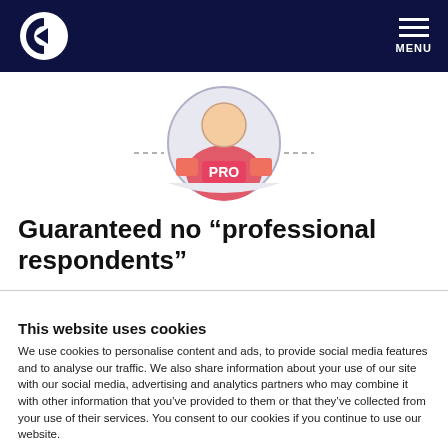Guaranteed — logo and MENU navigation header
[Figure (illustration): PRO respondent illustration: circular icon showing a person wearing a pink/orange shirt with PRO badge, centered on white background with dashed horizontal lines]
Guaranteed no “professional respondents”
This website uses cookies
We use cookies to personalise content and ads, to provide social media features and to analyse our traffic. We also share information about your use of our site with our social media, advertising and analytics partners who may combine it with other information that you’ve provided to them or that they’ve collected from your use of their services. You consent to our cookies if you continue to use our website.
Use necessary cookies only | Allow all cookies | Show details